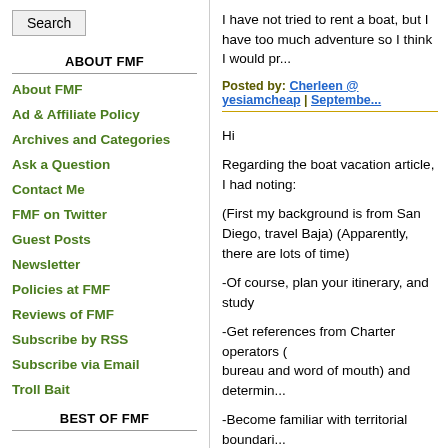Search
ABOUT FMF
About FMF
Ad & Affiliate Policy
Archives and Categories
Ask a Question
Contact Me
FMF on Twitter
Guest Posts
Newsletter
Policies at FMF
Reviews of FMF
Subscribe by RSS
Subscribe via Email
Troll Bait
BEST OF FMF
I have not tried to rent a boat, but I have too much adventure so I think I would pr...
Posted by: Cherleen @ yesiamcheap | Septembe...
Hi
Regarding the boat vacation article, I had noting:
(First my background is from San Diego, travel Baja) (Apparently, there are lots of time)
-Of course, plan your itinerary, and study
-Get references from Charter operators ( bureau and word of mouth) and determin...
-Become familiar with territorial boundari...
-Try to find out about pirate activity in the...
-Notify a good friend and/or attorney about check in and out with them;